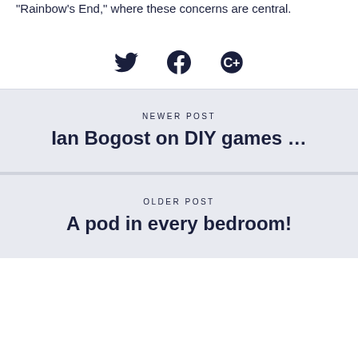"Rainbow's End," where these concerns are central.
[Figure (illustration): Three social media icons: Twitter bird, Facebook F in circle, and a C+ icon in circle]
NEWER POST
Ian Bogost on DIY games &#8230;
OLDER POST
A pod in every bedroom!